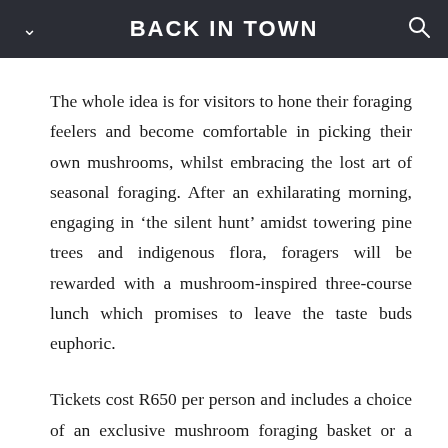BACK IN TOWN
The whole idea is for visitors to hone their foraging feelers and become comfortable in picking their own mushrooms, whilst embracing the lost art of seasonal foraging. After an exhilarating morning, engaging in ‘the silent hunt’ amidst towering pine trees and indigenous flora, foragers will be rewarded with a mushroom-inspired three-course lunch which promises to leave the taste buds euphoric.
Tickets cost R650 per person and includes a choice of an exclusive mushroom foraging basket or a bottle of Delheim wine and two glasses to take home; the insightful lecture on mushroom identification by fundi